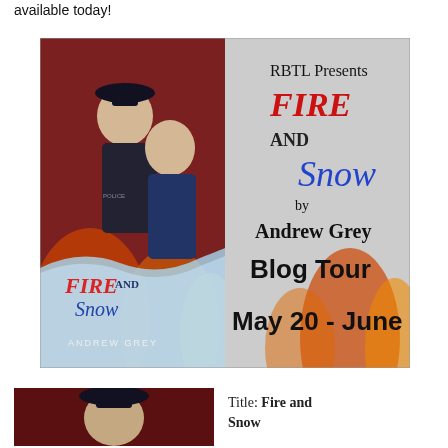available today!
[Figure (illustration): Blog tour promotional banner for 'Fire and Snow' by Andrew Grey. Left half shows the book cover with two men, one in a police uniform and one in a blue shirt, with 'FIRE AND Snow' and 'ANDREW GREY' text on the cover. Right half on a grey/snowy background reads: 'RBTL Presents FIRE AND Snow by Andrew Grey Blog Tour May 20 - June 3'. Flames visible in background.]
[Figure (photo): Bottom-left partial image showing a man in a police cap against a dark red background.]
Title: Fire and Snow